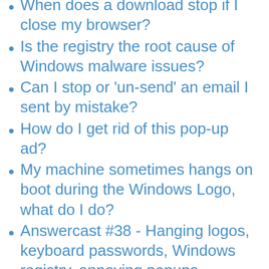When does a download stop if I close my browser?
Is the registry the root cause of Windows malware issues?
Can I stop or 'un-send' an email I sent by mistake?
How do I get rid of this pop-up ad?
My machine sometimes hangs on boot during the Windows Logo, what do I do?
Answercast #38 - Hanging logos, keyboard passwords, Windows registry, annoying popups, midnight slowdowns